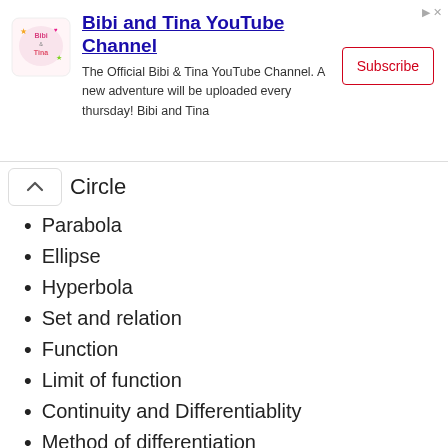[Figure (other): Bibi and Tina YouTube Channel advertisement banner with logo, description text, and Subscribe button]
Circle
Parabola
Ellipse
Hyperbola
Set and relation
Function
Limit of function
Continuity and Differentiablity
Method of differentiation
Application of derivatives
Indefinite integral
Definite integral
Area under the curve
Differential equations
Quadratic equations